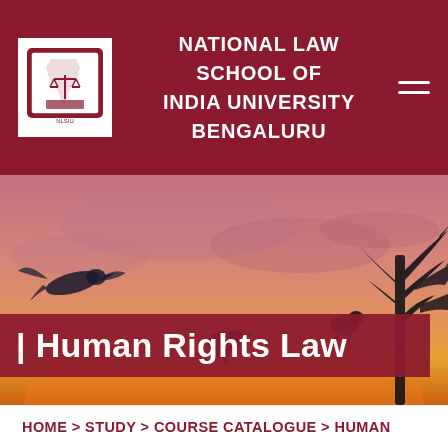NATIONAL LAW SCHOOL OF INDIA UNIVERSITY BENGALURU
[Figure (photo): Sunset sky with birds silhouetted on branches, with a bird in flight on the left. Orange and pink sky tones.]
| Human Rights Law
HOME > STUDY > COURSE CATALOGUE > HUMAN